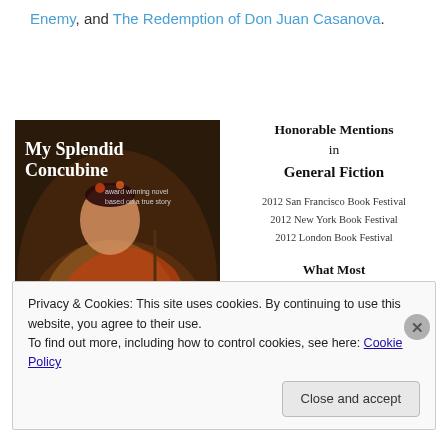Enemy, and The Redemption of Don Juan Casanova.
[Figure (illustration): Book cover for 'My Splendid Concubine – award winning novel based on a true story', showing an Asian woman in traditional clothing playing a lute against a dark background.]
Honorable Mentions in General Fiction
2012 San Francisco Book Festival
2012 New York Book Festival
2012 London Book Festival
What Most Reader Reviews are Saying
"Epic, thrilling, & intimate portrait
Privacy & Cookies: This site uses cookies. By continuing to use this website, you agree to their use.
To find out more, including how to control cookies, see here: Cookie Policy
Close and accept